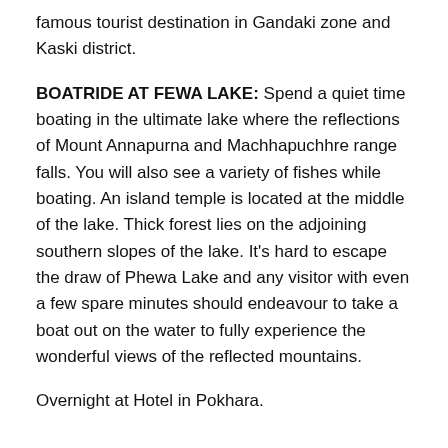famous tourist destination in Gandaki zone and Kaski district.
BOATRIDE AT FEWA LAKE: Spend a quiet time boating in the ultimate lake where the reflections of Mount Annapurna and Machhapuchhre range falls. You will also see a variety of fishes while boating. An island temple is located at the middle of the lake. Thick forest lies on the adjoining southern slopes of the lake. It's hard to escape the draw of Phewa Lake and any visitor with even a few spare minutes should endeavour to take a boat out on the water to fully experience the wonderful views of the reflected mountains.
Overnight at Hotel in Pokhara.